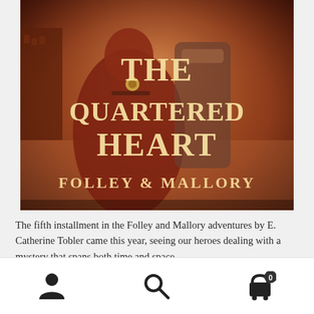[Figure (illustration): Book cover for 'The Quartered Heart' by Folley & Mallory. Features a figure in a red cloak with armor, gold/cream title lettering on a dark warm-toned background.]
The fifth installment in the Folley and Mallory adventures by E. Catherine Tobler came this year, seeing our heroes dealing with a mystery that spans both time and space. Here’s the whole series, grab one today!
[Figure (infographic): Bottom navigation bar with three icons: a person/account icon, a search/magnifying glass icon, and a shopping cart icon with a badge showing '0'.]